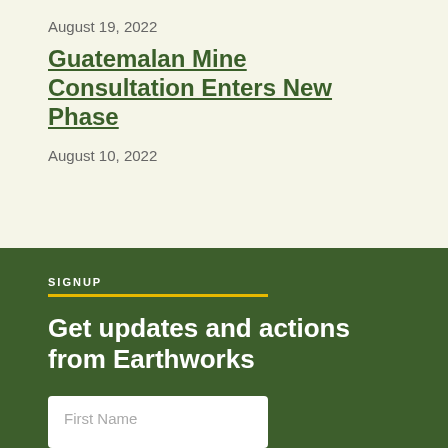August 19, 2022
Guatemalan Mine Consultation Enters New Phase
August 10, 2022
SIGNUP
Get updates and actions from Earthworks
First Name